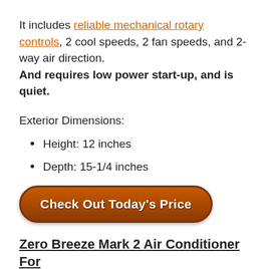It includes reliable mechanical rotary controls, 2 cool speeds, 2 fan speeds, and 2-way air direction. And requires low power start-up, and is quiet.
Exterior Dimensions:
Height: 12 inches
Depth: 15-1/4 inches
[Figure (other): Orange rounded button labeled 'Check Out Today's Price']
Zero Breeze Mark 2 Air Conditioner For